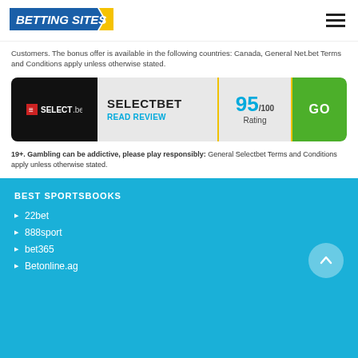BETTING SITES
Customers. The bonus offer is available in the following countries: Canada, General Net.bet Terms and Conditions apply unless otherwise stated.
[Figure (screenshot): SelectBet promotional card showing logo, name, READ REVIEW link, 95/100 Rating, and green GO button]
19+. Gambling can be addictive, please play responsibly: General Selectbet Terms and Conditions apply unless otherwise stated.
BEST SPORTSBOOKS
22bet
888sport
bet365
Betonline.ag